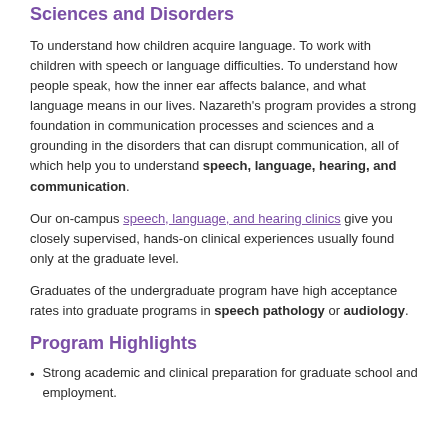Sciences and Disorders
To understand how children acquire language. To work with children with speech or language difficulties. To understand how people speak, how the inner ear affects balance, and what language means in our lives. Nazareth's program provides a strong foundation in communication processes and sciences and a grounding in the disorders that can disrupt communication, all of which help you to understand speech, language, hearing, and communication.
Our on-campus speech, language, and hearing clinics give you closely supervised, hands-on clinical experiences usually found only at the graduate level.
Graduates of the undergraduate program have high acceptance rates into graduate programs in speech pathology or audiology.
Program Highlights
Strong academic and clinical preparation for graduate school and employment.